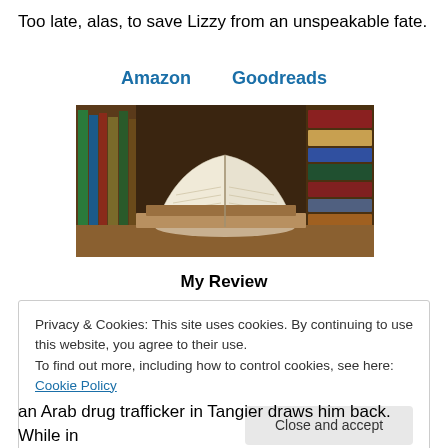Too late, alas, to save Lizzy from an unspeakable fate.
Amazon    Goodreads
[Figure (photo): Photo of stacked and open books on a wooden surface with bookshelves in the background]
My Review
Privacy & Cookies: This site uses cookies. By continuing to use this website, you agree to their use.
To find out more, including how to control cookies, see here: Cookie Policy

[Close and accept]
an Arab drug trafficker in Tangier draws him back. While in